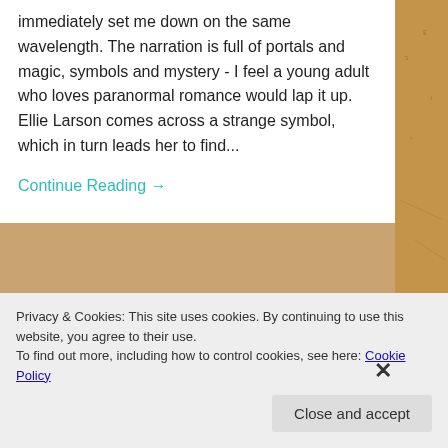immediately set me down on the same wavelength. The narration is full of portals and magic, symbols and mystery - I feel a young adult who loves paranormal romance would lap it up. Ellie Larson comes across a strange symbol, which in turn leads her to find...
Continue Reading →
April 1, 2018   0
Privacy & Cookies: This site uses cookies. By continuing to use this website, you agree to their use.
To find out more, including how to control cookies, see here: Cookie Policy
Close and accept